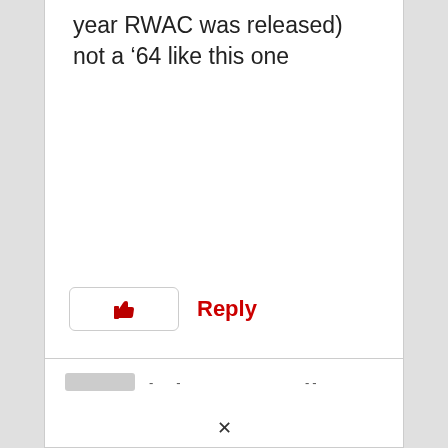year RWAC was released) not a ’64 like this one
[Figure (other): Like (thumbs up) button icon]
Reply
[Figure (other): Second comment card with avatar placeholder, name dots, date dots, and expand arrow]